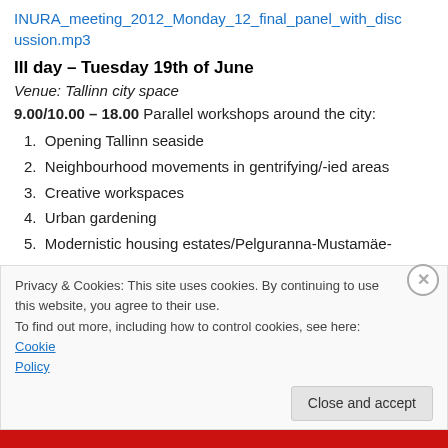INURA_meeting_2012_Monday_12_final_panel_with_discussion.mp3
III day – Tuesday 19th of June
Venue: Tallinn city space
9.00/10.00 – 18.00 Parallel workshops around the city:
1. Opening Tallinn seaside
2. Neighbourhood movements in gentrifying/-ied areas
3. Creative workspaces
4. Urban gardening
5. Modernistic housing estates/Pelguranna-Mustamäe-
Privacy & Cookies: This site uses cookies. By continuing to use this website, you agree to their use.
To find out more, including how to control cookies, see here: Cookie Policy